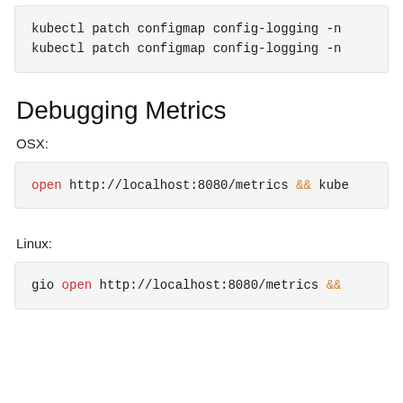[Figure (screenshot): Code block showing two kubectl patch configmap config-logging -n commands]
Debugging Metrics
OSX:
[Figure (screenshot): Code block: open http://localhost:8080/metrics && kube...]
Linux:
[Figure (screenshot): Code block: gio open http://localhost:8080/metrics &&...]